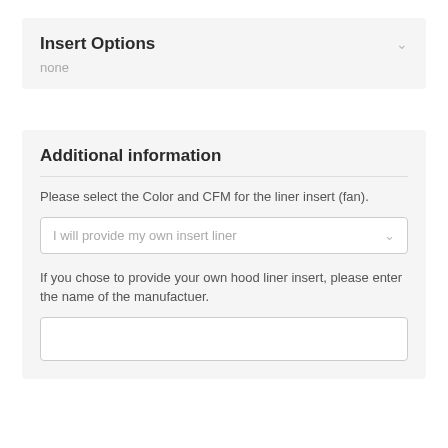Insert Options
none
Additional information
Please select the Color and CFM for the liner insert (fan).
I will provide my own insert liner
If you chose to provide your own hood liner insert, please enter the name of the manufactuer.